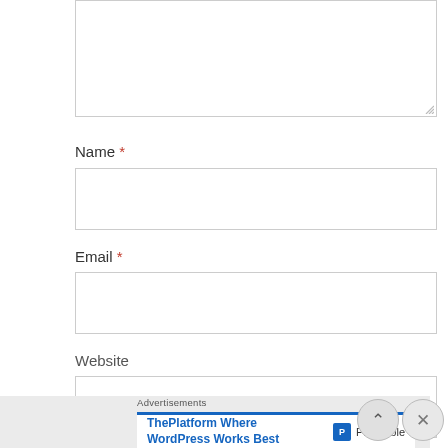[Figure (screenshot): Textarea input box (top portion visible, cropped at top of page)]
Name *
[Figure (screenshot): Name text input field (empty)]
Email *
[Figure (screenshot): Email text input field (empty)]
Website
[Figure (screenshot): Website text input field (empty)]
POST COMMENT
Advertisements
ThePlatform Where WordPress Works Best
[Figure (logo): Pressable logo with P icon]